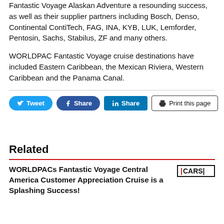Fantastic Voyage Alaskan Adventure a resounding success, as well as their supplier partners including Bosch, Denso, Continental ContiTech, FAG, INA, KYB, LUK, Lemforder, Pentosin, Sachs, Stabilus, ZF and many others.
WORLDPAC Fantastic Voyage cruise destinations have included Eastern Caribbean, the Mexican Riviera, Western Caribbean and the Panama Canal.
[Figure (other): Social sharing buttons: Tweet (Twitter), Share (Facebook), Share (LinkedIn), and Print this page button]
Related
WORLDPACs Fantastic Voyage Central America Customer Appreciation Cruise is a Splashing Success!